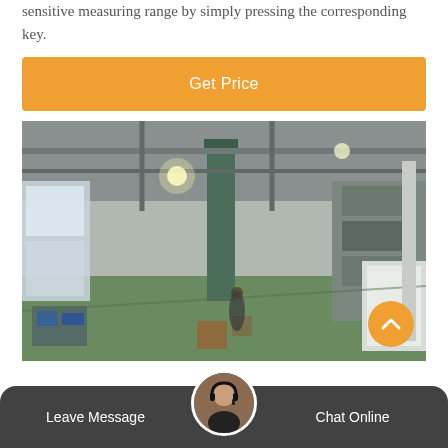sensitive measuring range by simply pressing the corresponding key.
Get Price
[Figure (photo): Interior of a large industrial factory/warehouse with green floor, tall columns, industrial machinery and equipment visible along the sides, overhead lighting, and bright windows on the left.]
Leave Message
Chat Online